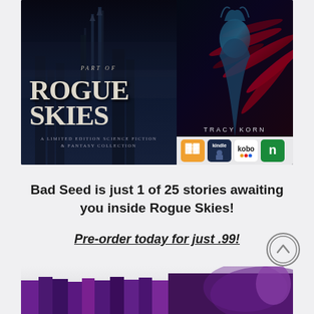[Figure (illustration): Promotional banner for 'Rogue Skies' limited edition science fiction and fantasy collection. Left side shows dark fantasy cityscape with large stylized text 'PART OF ROGUE SKIES – A LIMITED EDITION SCIENCE FICTION & FANTASY COLLECTION'. Right side shows a book cover by Tracy Korn featuring a blue-toned female figure. Below the book cover are four store icons: Apple Books (orange), Kindle (dark blue), Kobo (white/yellow), and Nook (green).]
Bad Seed is just 1 of 25 stories awaiting you inside Rogue Skies!
Pre-order today for just .99!
[Figure (photo): Partial view of bottom of page showing book spines/boxed set collection]